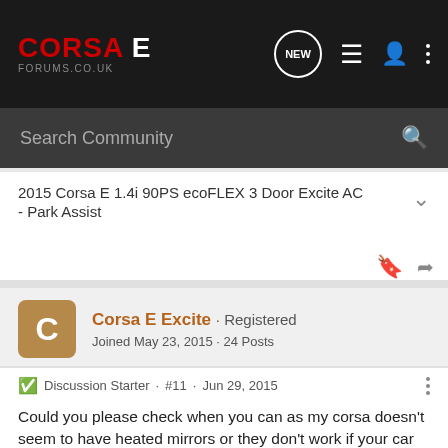CORSA E FORUMS.CO.UK
Search Community
2015 Corsa E 1.4i 90PS ecoFLEX 3 Door Excite AC
- Park Assist
Corsa E Excite · Registered
Joined May 23, 2015 · 24 Posts
Discussion Starter · #11 · Jun 29, 2015
Could you please check when you can as my corsa doesn't seem to have heated mirrors or they don't work if your car has got them I'm going to ring up my dealer and give them a little moan as they told me when I brought the car it has got the winter pack on it